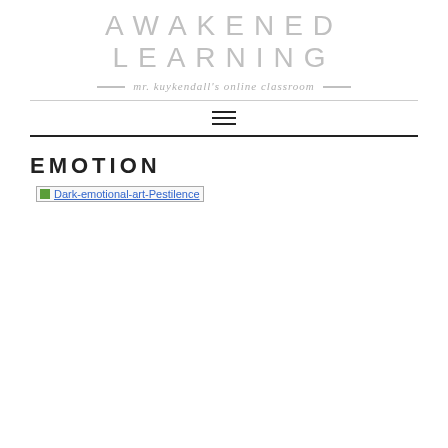AWAKENED LEARNING
mr. kuykendall's online classroom
EMOTION
[Figure (photo): Broken image placeholder labeled 'Dark-emotional-art-Pestilence']